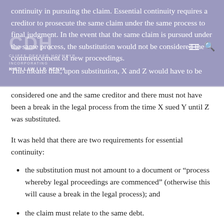continuity in pursuing the claim. Essential continuity requires a creditor to prosecute the same claim under the same process to final judgment. In the event that the same claim is pursued under the same process, the substitution would not be considered the commencement of new proceedings.
This means that, upon substitution, X and Z would have to be
considered one and the same creditor and there must not have been a break in the legal process from the time X sued Y until Z was substituted.
It was held that there are two requirements for essential continuity:
the substitution must not amount to a document or “process whereby legal proceedings are commenced” (otherwise this will cause a break in the legal process); and
the claim must relate to the same debt.